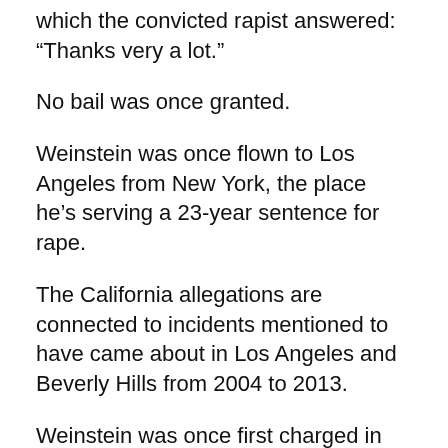which the convicted rapist answered: “Thanks very a lot.”
No bail was once granted.
Weinstein was once flown to Los Angeles from New York, the place he’s serving a 23-year sentence for rape.
The California allegations are connected to incidents mentioned to have came about in Los Angeles and Beverly Hills from 2004 to 2013.
Weinstein was once first charged in Los Angeles in January 2020 as his New York trial was once getting beneath approach.